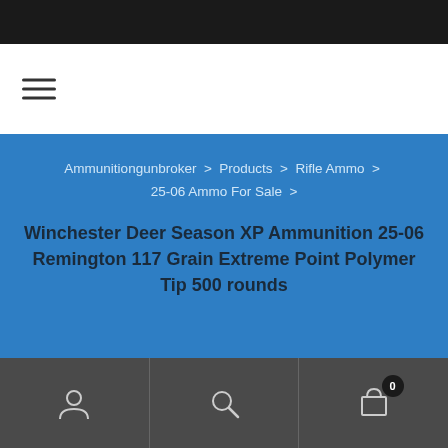Ammunitiongunbroker > Products > Rifle Ammo > 25-06 Ammo For Sale >
Winchester Deer Season XP Ammunition 25-06 Remington 117 Grain Extreme Point Polymer Tip 500 rounds
User account | Search | Cart 0